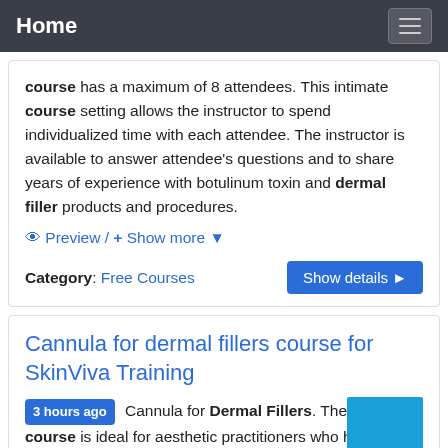Home
course has a maximum of 8 attendees. This intimate course setting allows the instructor to spend individualized time with each attendee. The instructor is available to answer attendee's questions and to share years of experience with botulinum toxin and dermal filler products and procedures.
Preview / + Show more
Category: Free Courses
Show details
Cannula for dermal fillers course for SkinViva Training
3 hours ago Cannula for Dermal Fillers. The Cannula course is ideal for aesthetic practitioners who have a good basic knowledge of dermal filler injections and